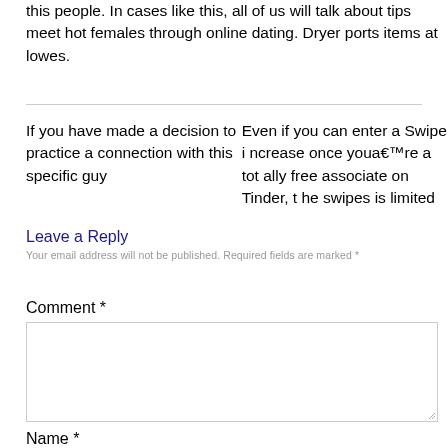this people. In cases like this, all of us will talk about tips meet hot females through online dating. Dryer ports items at lowes.
If you have made a decision to practice a connection with this specific guy
Even if you can enter a Swipe increase once youa€™re a totally free associate on Tinder, the swipes is limited
Leave a Reply
Your email address will not be published. Required fields are marked *
Comment *
Name *